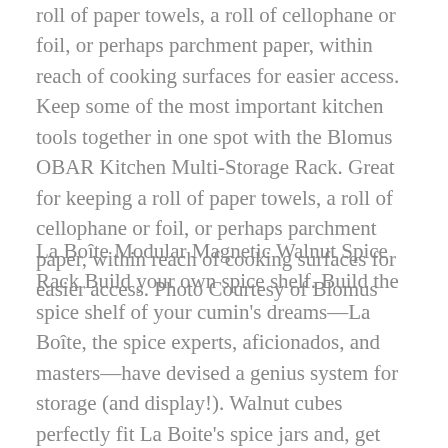roll of paper towels, a roll of cellophane or foil, or perhaps parchment paper, within reach of cooking surfaces for easier access. Keep some of the most important kitchen tools together in one spot with the Blomus OBAR Kitchen Multi-Storage Rack. Great for keeping a roll of paper towels, a roll of cellophane or foil, or perhaps parchment paper, within reach of cooking surfaces for easier access. Photo Courtesy of Blomus
La Boîte Modular Magnetic Walnut Spice Rack Build your own spice shelf. Build the spice shelf of your cumin's dreams—La Boîte, the spice experts, aficionados, and masters—have devised a genius system for storage (and display!). Walnut cubes perfectly fit La Boite's spice jars and, get this, magnetize to each other. The magnets are super strong so minimal mounting is needed (hardware is included for each shelf). Choose from a set of 3 shelves or set of 5 shelves to get you started and